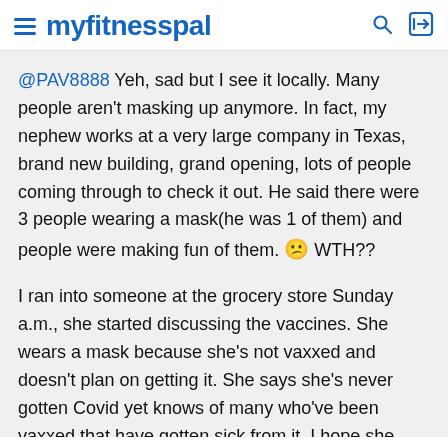myfitnesspal
@PAV8888 Yeh, sad but I see it locally. Many people aren't masking up anymore. In fact, my nephew works at a very large company in Texas, brand new building, grand opening, lots of people coming through to check it out. He said there were 3 people wearing a mask(he was 1 of them) and people were making fun of them. 😕 WTH??
I ran into someone at the grocery store Sunday a.m., she started discussing the vaccines. She wears a mask because she's not vaxxed and doesn't plan on getting it. She says she's never gotten Covid yet knows of many who've been vaxxed that have gotten sick from it. I hope she never